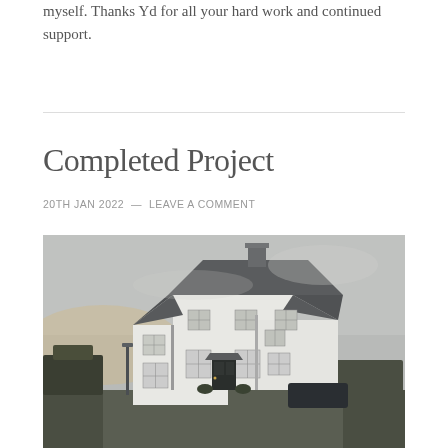myself. Thanks Yd for all your hard work and continued support.
Completed Project
20TH JAN 2022  —  LEAVE A COMMENT
[Figure (photo): Two-storey white rendered house with dark grey hip roof and chimney, photographed at dusk with overcast sky. Surrounded by flat landscape with trees visible in background.]